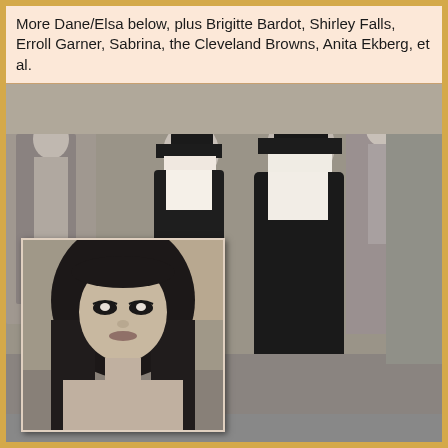More Dane/Elsa below, plus Brigitte Bardot, Shirley Falls, Erroll Garner, Sabrina, the Cleveland Browns, Anita Ekberg, et al.
[Figure (photo): Black and white photograph of two women dressed as nuns in dark habits and white wimples, walking in a street scene with other people visible in the background. An inset photograph in the lower left shows a young woman with long dark hair and dramatic eye makeup looking at the camera.]